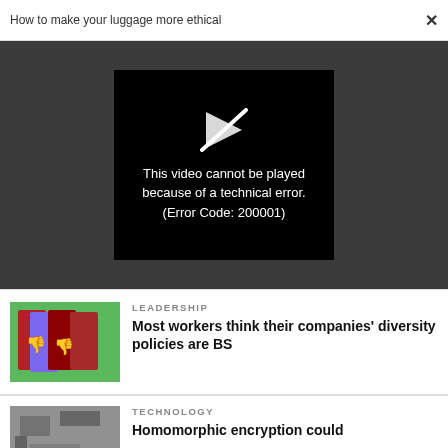How to make your luggage more ethical  ×
[Figure (screenshot): Video player error screen on dark grey background. Black box with broken play icon and text: This video cannot be played because of a technical error. (Error Code: 200001)]
[Figure (photo): Thumbnail of red notebooks with thumbs-down icons on green background]
LEADERSHIP
Most workers think their companies' diversity policies are BS
[Figure (photo): Aerial thumbnail in black and white with green element]
TECHNOLOGY
Homomorphic encryption could